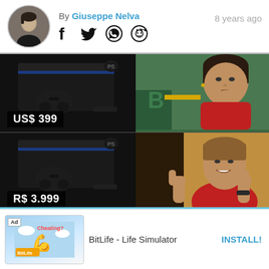By Giuseppe Nelva   8 years ago
[Figure (photo): A 2x2 meme grid showing a PS4 console priced at US$ 399 next to a skeptical woman, and the same PS4 priced at R$ 3.999 next to a smiling woman giving thumbs up]
[Figure (infographic): Advertisement bar for BitLife - Life Simulator with INSTALL button]